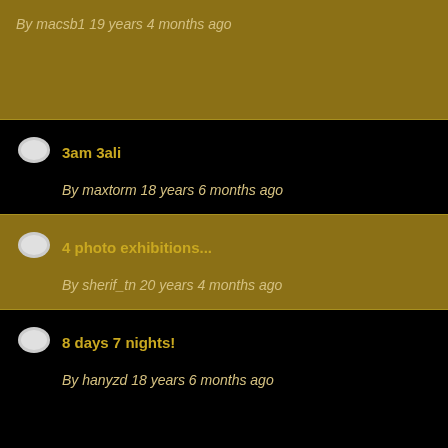By macsb1 19 years 4 months ago
3am 3ali
By maxtorm 18 years 6 months ago
4 photo exhibitions...
By sherif_tn 20 years 4 months ago
8 days 7 nights!
By hanyzd 18 years 6 months ago